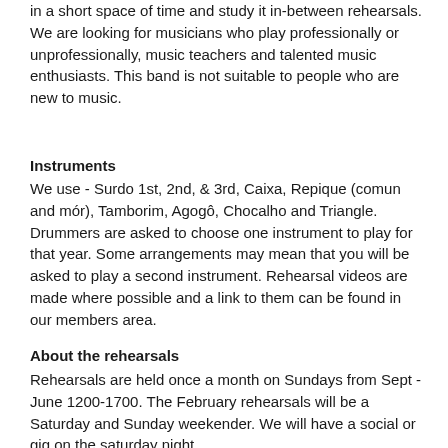in a short space of time and study it in-between rehearsals. We are looking for musicians who play professionally or unprofessionally, music teachers and talented music enthusiasts. This band is not suitable to people who are new to music.
Instruments
We use - Surdo 1st, 2nd, & 3rd, Caixa, Repique (comun and mór), Tamborim, Agogô, Chocalho and Triangle.
Drummers are asked to choose one instrument to play for that year. Some arrangements may mean that you will be asked to play a second instrument. Rehearsal videos are made where possible and a link to them can be found in our members area.
About the rehearsals
Rehearsals are held once a month on Sundays from Sept - June 1200-1700. The February rehearsals will be a Saturday and Sunday weekender. We will have a social or gig on the saturday night.
Held at professional rehearsal studios in Birmingham. Some rehearsals will be attended by